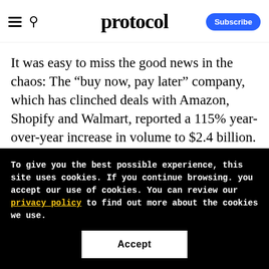protocol
It was easy to miss the good news in the chaos: The “buy now, pay later” company, which has clinched deals with Amazon, Shopify and Walmart, reported a 115% year-over-year increase in volume to $2.4 billion. Amazon helped, but the company said its
To give you the best possible experience, this site uses cookies. If you continue browsing. you accept our use of cookies. You can review our privacy policy to find out more about the cookies we use.
Accept